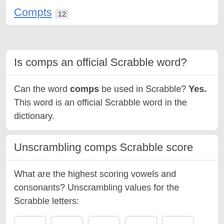Compts 12
Is comps an official Scrabble word?
Can the word comps be used in Scrabble? Yes. This word is an official Scrabble word in the dictionary.
Unscrambling comps Scrabble score
What are the highest scoring vowels and consonants? Unscrambling values for the Scrabble letters:
[Figure (other): Scrabble letter tiles showing C3, O1, M3, P3, S1]